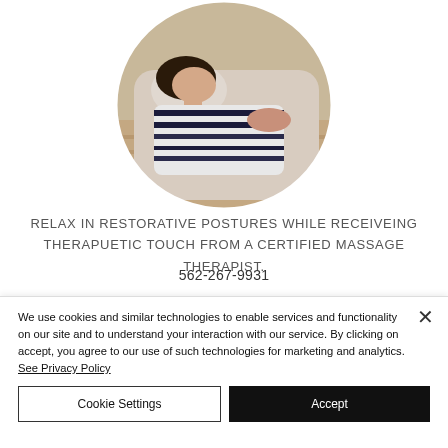[Figure (photo): Circular cropped photo of a person lying back in a reclined chair or massage chair, wearing a striped garment, with dark hair, in a room with wood flooring visible in background]
RELAX IN RESTORATIVE POSTURES WHILE RECEIVEING THERAPUETIC TOUCH FROM A CERTIFIED MASSAGE THERAPIST.
562-267-9931
We use cookies and similar technologies to enable services and functionality on our site and to understand your interaction with our service. By clicking on accept, you agree to our use of such technologies for marketing and analytics. See Privacy Policy